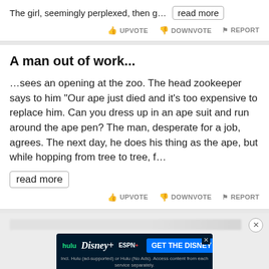The girl, seemingly perplexed, then g… read more
UPVOTE  DOWNVOTE  REPORT
A man out of work...
…sees an opening at the zoo. The head zookeeper says to him "Our ape just died and it's too expensive to replace him. Can you dress up in an ape suit and run around the ape pen? The man, desperate for a job, agrees. The next day, he does his thing as the ape, but while hopping from tree to tree, f…
read more
UPVOTE  DOWNVOTE  REPORT
[Figure (screenshot): Blurred advertisement area with close button]
[Figure (screenshot): Disney Bundle advertisement with Hulu, Disney+, ESPN+ logos and GET THE DISNEY BUNDLE button. Footer text: Incl. Hulu (ad-supported) or Hulu (No Ads). Access content from each service separately. ©2021 Disney and its related entities]